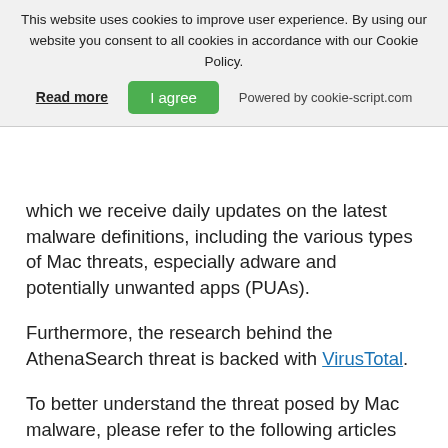This website uses cookies to improve user experience. By using our website you consent to all cookies in accordance with our Cookie Policy.
Read more | I agree | Powered by cookie-script.com
which we receive daily updates on the latest malware definitions, including the various types of Mac threats, especially adware and potentially unwanted apps (PUAs).
Furthermore, the research behind the AthenaSearch threat is backed with VirusTotal.
To better understand the threat posed by Mac malware, please refer to the following articles which provide knowledgeable details.
References
1. macOS More Susceptible to Adware and PUPs than Windows